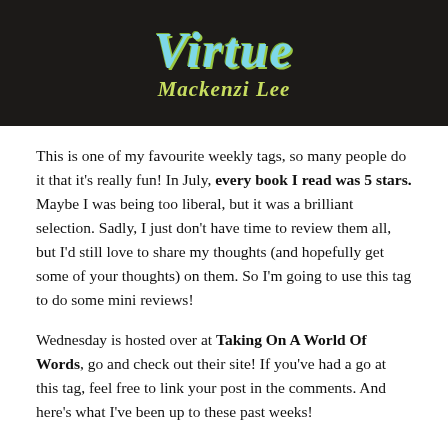[Figure (illustration): Book cover image showing title 'Virtue' in teal italic text and author 'Mackenzi Lee' in yellow-green italic text on a dark background]
This is one of my favourite weekly tags, so many people do it that it's really fun! In July, every book I read was 5 stars. Maybe I was being too liberal, but it was a brilliant selection. Sadly, I just don't have time to review them all, but I'd still love to share my thoughts (and hopefully get some of your thoughts) on them. So I'm going to use this tag to do some mini reviews!
Wednesday is hosted over at Taking On A World Of Words, go and check out their site! If you've had a go at this tag, feel free to link your post in the comments. And here's what I've been up to these past weeks!